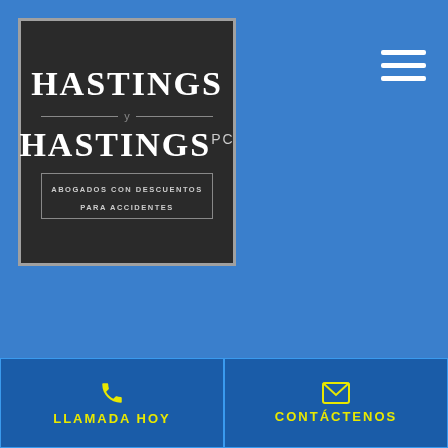[Figure (logo): Hastings y Hastings PC law firm logo on dark background with 'ABOGADOS CON DESCUENTOS PARA ACCIDENTES' subtitle]
[Figure (other): Hamburger menu icon (three horizontal white lines) in top right corner]
LLAMADA HOY
CONTÁCTENOS